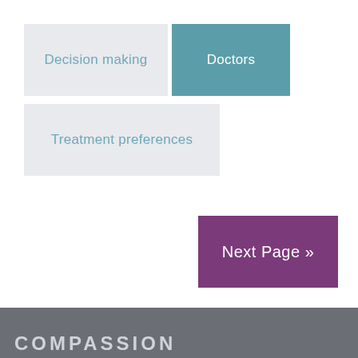Decision making
Doctors
Treatment preferences
Next Page »
COMPASSION